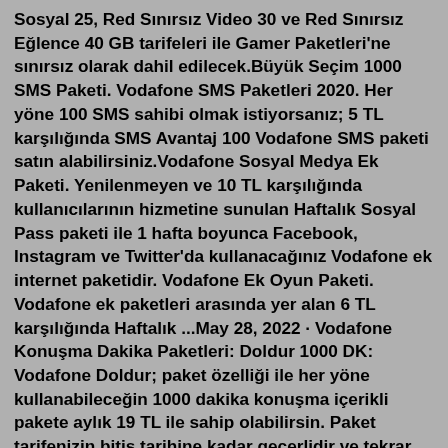Sosyal 25, Red Sınırsız Video 30 ve Red Sınırsız Eğlence 40 GB tarifeleri ile Gamer Paketleri'ne sınırsız olarak dahil edilecek.Büyük Seçim 1000 SMS Paketi. Vodafone SMS Paketleri 2020. Her yöne 100 SMS sahibi olmak istiyorsanız; 5 TL karşılığında SMS Avantaj 100 Vodafone SMS paketi satın alabilirsiniz.Vodafone Sosyal Medya Ek Paketi. Yenilenmeyen ve 10 TL karşılığında kullanıcılarının hizmetine sunulan Haftalık Sosyal Pass paketi ile 1 hafta boyunca Facebook, Instagram ve Twitter'da kullanacağınız Vodafone ek internet paketidir. Vodafone Ek Oyun Paketi. Vodafone ek paketleri arasında yer alan 6 TL karşılığında Haftalık ...May 28, 2022 · Vodafone Konuşma Dakika Paketleri: Doldur 1000 DK: Vodafone Doldur; paket özelliği ile her yöne kullanabileceğin 1000 dakika konuşma içerikli pakete aylık 19 TL ile sahip olabilirsin. Paket tarifenizin bitiş tarihine kadar geçerlidir ve tekrar etmez. Cankurtaran 100 DK: Vodafone Cankurtaran 100 DK paketi; ile bir gün geçerli ... Jul 22, 2019 · Yeni iletişim stratejisini "Vodafone FreeZone ile